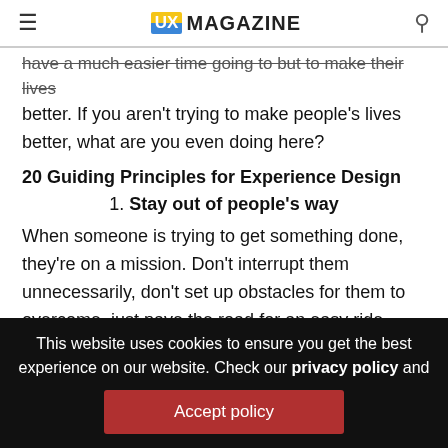UX MAGAZINE
have a much easier time going to but to make their lives better. If you aren't trying to make people's lives better, what are you even doing here?
20 Guiding Principles for Experience Design
1. Stay out of people's way
When someone is trying to get something done, they're on a mission. Don't interrupt them unnecessarily, don't set up obstacles for them to overcome, just pave the road for an easy ride. Your designs should have intentional and
This website uses cookies to ensure you get the best experience on our website. Check our privacy policy and
Accept policy